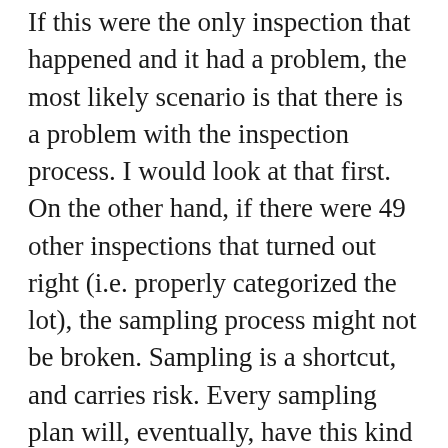If this were the only inspection that happened and it had a problem, the most likely scenario is that there is a problem with the inspection process. I would look at that first. On the other hand, if there were 49 other inspections that turned out right (i.e. properly categorized the lot), the sampling process might not be broken. Sampling is a shortcut, and carries risk. Every sampling plan will, eventually, have this kind of problem. Even with a sample size of 999, there is still a chance, no matter how small, that the one that isn't inspected will be the one that is defective. That's why sampling isn't used for critical functions, like airport security. There's another important task, though. We don't know how long ago the problem happened. Since there is only a 1 in 50 (ish) chance that this